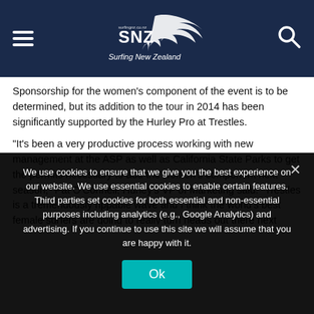Surfing New Zealand
Sponsorship for the women’s component of the event is to be determined, but its addition to the tour in 2014 has been significantly supported by the Hurley Pro at Trestles.
“It’s been a very productive process working with new management at the ASP as well as California State Parks to get the permits necessary to add the women’s component next season,” Pat O’Connell, Hurley’s VP of Marketing said. “Trestles is a tremendously rippable wave and I think the world’s best female surfers are going to really turn heads out there next year.”
We use cookies to ensure that we give you the best experience on our website. We use essential cookies to enable certain features. Third parties set cookies for both essential and non-essential purposes including analytics (e.g., Google Analytics) and advertising. If you continue to use this site we will assume that you are happy with it.